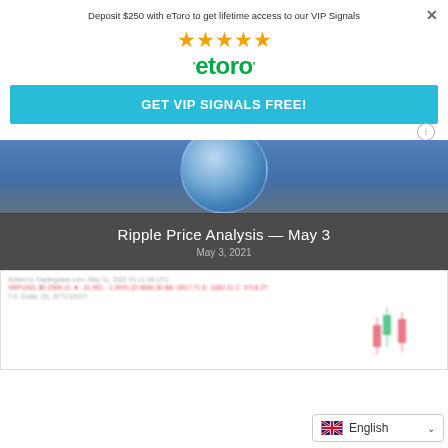Deposit $250 with eToro to get lifetime access to our VIP Signals ×
[Figure (illustration): Five orange star rating icons]
[Figure (logo): eToro green logo with tick marks on either side]
GET VIP SIGNALS FREE!
[Figure (photo): Ripple XRP coin close-up on blue background, with dark overlay banner showing article title and date]
Ripple Price Analysis — May 3
May 3, 2021
[Figure (screenshot): Blurred TradingView chart screenshot showing XRP price data with candlestick chart]
English